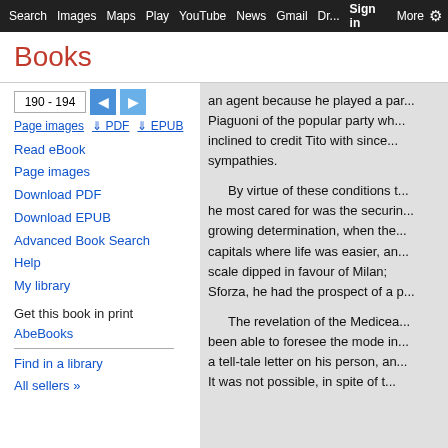Search  Images  Maps  Play  YouTube  News  Gmail  Drive  More  Sign in
Books
Read eBook
Page images
Download PDF
Download EPUB
Advanced Book Search
Help
My library
Get this book in print
AbeBooks
Find in a library
All sellers »
190 - 194
Page images  ⬇ PDF  ⬇ EPUB
an agent because he played a par... Piaguoni of the popular party wh... inclined to credit Tito with since... sympathies.

By virtue of these conditions t... he most cared for was the securin... growing determination, when the... capitals where life was easier, an... scale dipped in favour of Milan;... Sforza, he had the prospect of a p...

The revelation of the Medicea... been able to foresee the mode in... a tell-tale letter on his person, an... It was not possible, in spite of t...